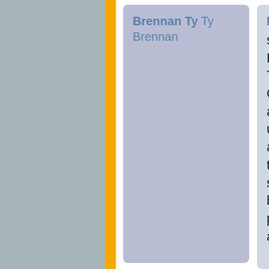Brennan Ty Ty Brennan
Marcus Vidaurri second-year Mechanical Engineering student at UCLA. This is his first year with ORMC. He is passionate about understanding the universe through mathematics and extending that passion to the next generation. Outside of school he enjoys playing basketball, mountain biking, playing piano, reading, and admiring nature